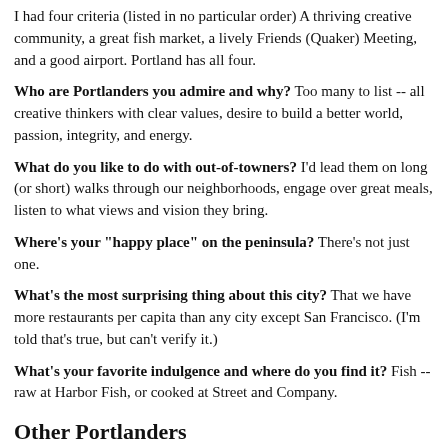I had four criteria (listed in no particular order) A thriving creative community, a great fish market, a lively Friends (Quaker) Meeting, and a good airport. Portland has all four.
Who are Portlanders you admire and why? Too many to list -- all creative thinkers with clear values, desire to build a better world, passion, integrity, and energy.
What do you like to do with out-of-towners? I'd lead them on long (or short) walks through our neighborhoods, engage over great meals, listen to what views and vision they bring.
Where's your "happy place" on the peninsula? There's not just one.
What's the most surprising thing about this city? That we have more restaurants per capita than any city except San Francisco. (I'm told that's true, but can't verify it.)
What's your favorite indulgence and where do you find it? Fish -- raw at Harbor Fish, or cooked at Street and Company.
Other Portlanders
View more >